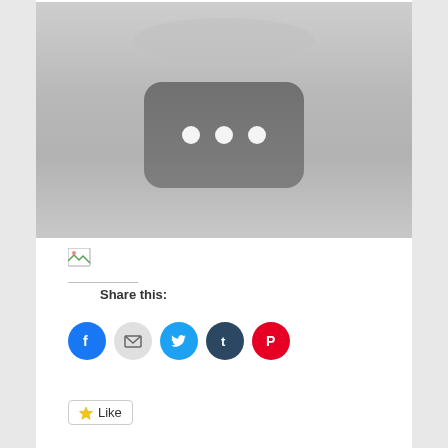[Figure (screenshot): Embedded video placeholder with gray background and a dark rounded rectangle with three white dots (loading/buffering indicator)]
[Figure (photo): Small broken/loading image icon]
Share this:
[Figure (infographic): Row of social share buttons: Facebook (blue circle), Email (light gray circle), Twitter (cyan circle), Tumblr (dark blue circle), Pinterest (red circle)]
Like